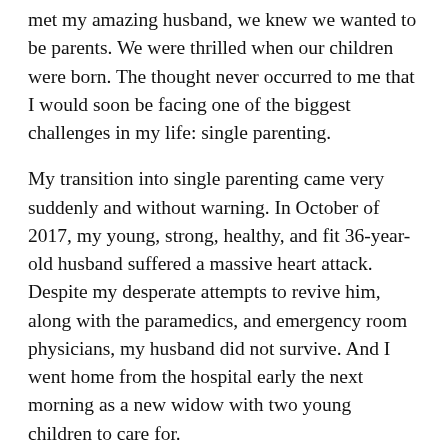met my amazing husband, we knew we wanted to be parents. We were thrilled when our children were born. The thought never occurred to me that I would soon be facing one of the biggest challenges in my life: single parenting.
My transition into single parenting came very suddenly and without warning. In October of 2017, my young, strong, healthy, and fit 36-year-old husband suffered a massive heart attack. Despite my desperate attempts to revive him, along with the paramedics, and emergency room physicians, my husband did not survive. And I went home from the hospital early the next morning as a new widow with two young children to care for.
At the time, my children were only 2 and 5-years-old. The thought of facing the rest of my life without my husband by my side was unfathomable. The thought of raising two kids on my own as a single parent was terrifying. But I knew I had no other choice than to move forward and do my very best. As a parent, it really is the only choice you